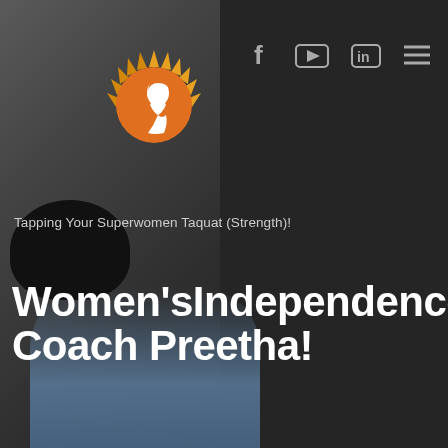[Figure (logo): Circular orange logo with white female silhouette profile and sun rays radiating outward on dark background]
[Figure (infographic): Social media navigation icons: Facebook (f), YouTube, LinkedIn (in), and hamburger menu (three horizontal lines) on dark background]
[Figure (photo): Woman with dark hair and glasses seated, wearing jeans, photographed against dark background on left side of page]
Tapping Your Superwomen Taquat (Strength)!
Women'sIndependence Coach Preetha!